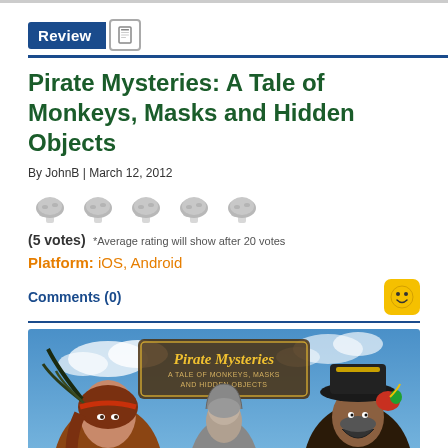Review
Pirate Mysteries: A Tale of Monkeys, Masks and Hidden Objects
By JohnB | March 12, 2012
[Figure (illustration): Five mushroom/rating icons in a row representing the star rating]
(5 votes) *Average rating will show after 20 votes
Platform: iOS, Android
Comments (0)
[Figure (illustration): Box art / promotional image for Pirate Mysteries: A Tale of Monkeys, Masks and Hidden Objects showing three characters (a female pirate, a cloaked figure, and a male pirate with hat) against a blue sky background with the game title in ornate lettering]